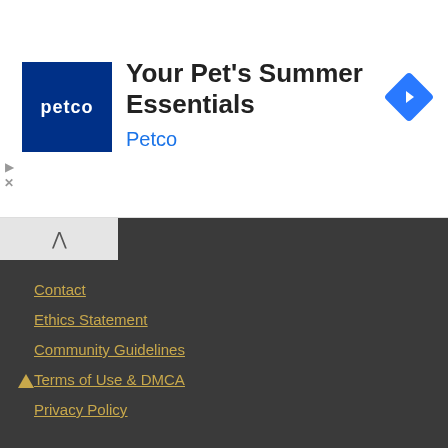[Figure (other): Petco advertisement banner with Petco logo (blue square with white 'petco' text), headline 'Your Pet's Summer Essentials', brand name 'Petco' in blue, and a blue navigation diamond icon on the right. Play and close icons on the left side.]
Contact
Ethics Statement
Community Guidelines
Terms of Use & DMCA
Privacy Policy
[Figure (logo): Valdemar Web Agency & Media Network logo with a heraldic crest on the left and text 'PRODUCED BY VALDEMAR WEB AGENCY & MEDIA NETWORK']
[Figure (other): Gold/yellow upward arrow scroll-to-top button]